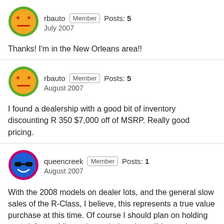[Figure (illustration): User avatar for rbauto - smiley face with stars for eyes and a flat mouth, orange circle with green border]
rbauto Member Posts: 5 July 2007
Thanks! I'm in the New Orleans area!!
[Figure (illustration): User avatar for rbauto - smiley face with stars for eyes and a flat mouth, orange circle with green border]
rbauto Member Posts: 5 August 2007
I found a dealership with a good bit of inventory discounting R 350 $7,000 off of MSRP. Really good pricing.
[Figure (illustration): User avatar for queencreek - blue smiley face with sunglasses, blue circle with red/purple border]
queencreek Member Posts: 1 August 2007
With the 2008 models on dealer lots, and the general slow sales of the R-Class, I believe, this represents a true value purchase at this time. Of course I should plan on holding on to it for a while as the trade-in value will be on the very low side. With that said, MB is offering a 3K marketing incentive, thus establishing a bargaining starting point of invoice minus 3K.